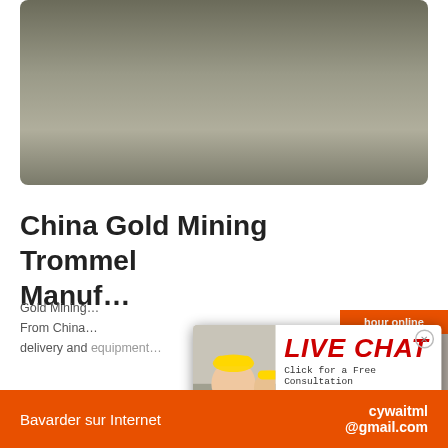[Figure (photo): Mining site photo showing a sandy/gravel excavation area with machinery and workers in the background]
China Gold Mining Trommel Manuf...
Gold Mining... From China... delivery and equipment...
[Figure (screenshot): Live chat popup overlay with workers in hard hats, LIVE CHAT text in red italic, Click for a Free Consultation, Chat now and Chat later buttons]
[Figure (other): Orange sidebar panel with 'hour online' header, customer service agent photo, Click to chat button, and Enquiry button]
Bavarder sur Internet   cywaitml @gmail.com